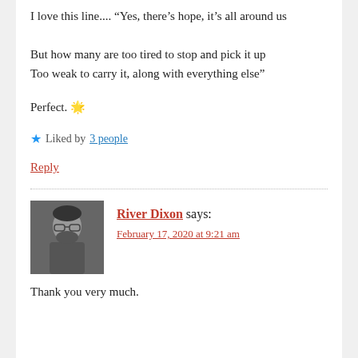I love this line.... “Yes, there’s hope, it’s all around us
But how many are too tired to stop and pick it up
Too weak to carry it, along with everything else”
Perfect. ☀️
★ Liked by 3 people
Reply
River Dixon says:
February 17, 2020 at 9:21 am
Thank you very much.